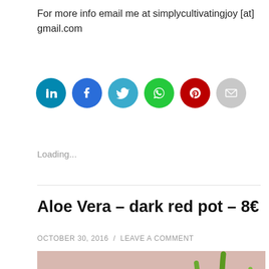For more info email me at simplycultivatingjoy [at] gmail.com
[Figure (infographic): Six circular social sharing icons: LinkedIn (teal), Facebook (blue), Twitter (teal-blue), WhatsApp (green), Pinterest (red/dark red), Email (light gray)]
Loading...
Aloe Vera – dark red pot – 8€
OCTOBER 30, 2016 / LEAVE A COMMENT
[Figure (photo): Photo of an aloe vera plant in a dark red pot, with green spiky leaves visible against a pinkish background surface]